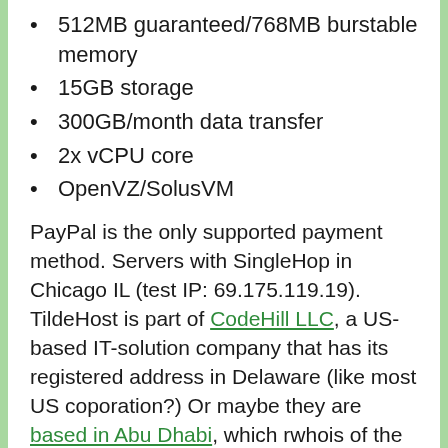512MB guaranteed/768MB burstable memory
15GB storage
300GB/month data transfer
2x vCPU core
OpenVZ/SolusVM
PayPal is the only supported payment method. Servers with SingleHop in Chicago IL (test IP: 69.175.119.19). TildeHost is part of CodeHill LLC, a US-based IT-solution company that has its registered address in Delaware (like most US coporation?) Or maybe they are based in Abu Dhabi, which rwhois of the test IP also confirms. I can’t seem to be able to find TildeHost mentioned much on the net though, nor have them tried to advertise on WHT. Domain has been registered since April 2010, but little evidence that it has been selling VPS